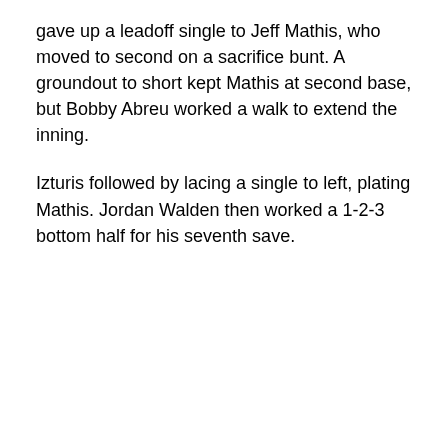gave up a leadoff single to Jeff Mathis, who moved to second on a sacrifice bunt. A groundout to short kept Mathis at second base, but Bobby Abreu worked a walk to extend the inning.
Izturis followed by lacing a single to left, plating Mathis. Jordan Walden then worked a 1-2-3 bottom half for his seventh save.